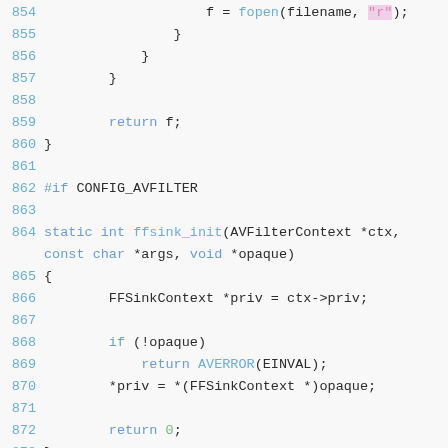Source code listing, lines 854-875, showing C code with fopen, ffsink_init, and null_end_frame functions.